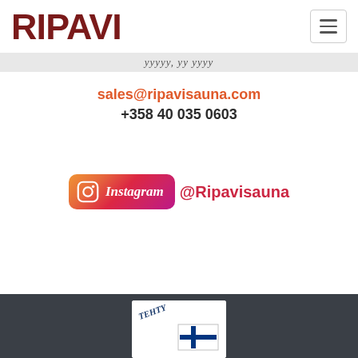RIPAVI
sales@ripavisauna.com
+358 40 035 0603
[Figure (logo): Instagram badge with @Ripavisauna handle]
[Figure (logo): Finnish Made badge with flag in footer]